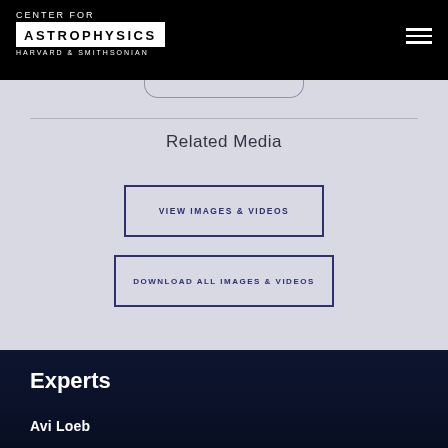CENTER FOR ASTROPHYSICS HARVARD & SMITHSONIAN
Related Media
VIEW IMAGES & VIDEOS
DOWNLOAD ALL IMAGES & VIDEOS
Experts
Avi Loeb